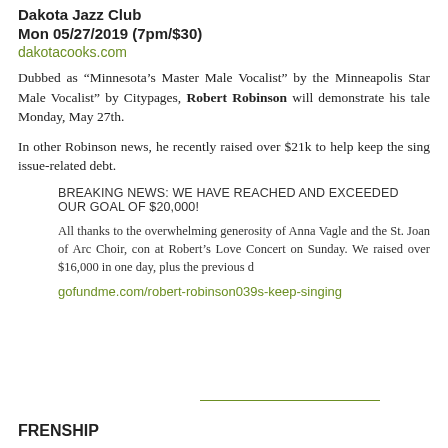Dakota Jazz Club
Mon 05/27/2019 (7pm/$30)
dakotacooks.com
Dubbed as “Minnesota’s Master Male Vocalist” by the Minneapolis Star… Male Vocalist” by Citypages, Robert Robinson will demonstrate his tale… Monday, May 27th.
In other Robinson news, he recently raised over $21k to help keep the sing… issue-related debt.
BREAKING NEWS: WE HAVE REACHED AND EXCEEDED OUR GOAL OF $20,000!
All thanks to the overwhelming generosity of Anna Vagle and the St. Joan of Arc Choir, con… at Robert’s Love Concert on Sunday. We raised over $16,000 in one day, plus the previous d…
gofundme.com/robert-robinson039s-keep-singing
FRENSHIP